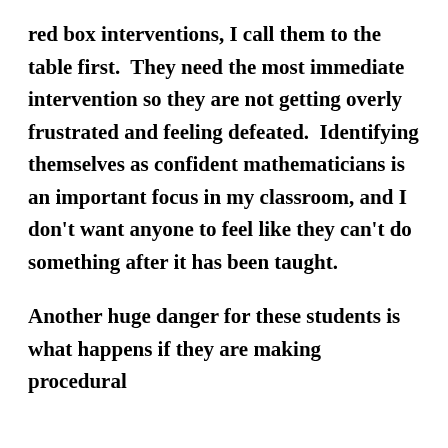red box interventions, I call them to the table first.  They need the most immediate intervention so they are not getting overly frustrated and feeling defeated.  Identifying themselves as confident mathematicians is an important focus in my classroom, and I don't want anyone to feel like they can't do something after it has been taught.
Another huge danger for these students is what happens if they are making procedural